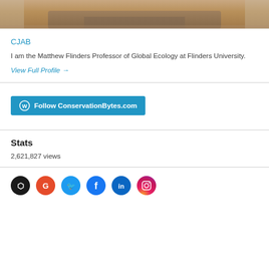[Figure (photo): Cropped photo showing lower face/chin area of a person with a beard wearing a collared shirt]
CJAB
I am the Matthew Flinders Professor of Global Ecology at Flinders University.
View Full Profile →
[Figure (other): Follow ConservationBytes.com button with WordPress icon]
Stats
2,621,827 views
[Figure (other): Row of social media icons: GitHub (black), Google Scholar (red/orange), Twitter (blue), Facebook (blue), LinkedIn (blue), Instagram (pink gradient)]